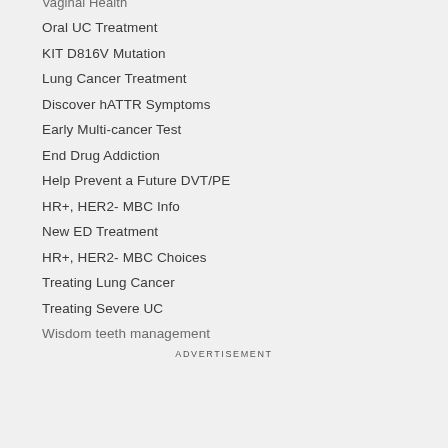Vaginal Health
Oral UC Treatment
KIT D816V Mutation
Lung Cancer Treatment
Discover hATTR Symptoms
Early Multi-cancer Test
End Drug Addiction
Help Prevent a Future DVT/PE
HR+, HER2- MBC Info
New ED Treatment
HR+, HER2- MBC Choices
Treating Lung Cancer
Treating Severe UC
Wisdom teeth management
ADVERTISEMENT